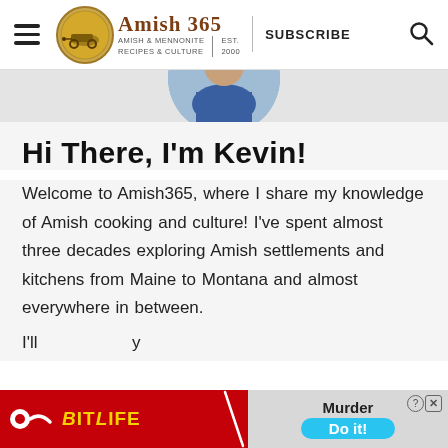Amish 365 — AMISH & MENNONITE RECIPES & CULTURE | EST. 2000 | SUBSCRIBE
[Figure (photo): Circular cropped photo of a person (Kevin) wearing a blue shirt, partially visible at top]
Hi There, I'm Kevin!
Welcome to Amish365, where I share my knowledge of Amish cooking and culture! I've spent almost three decades exploring Amish settlements and kitchens from Maine to Montana and almost everywhere in between.
I'll ... y tra... a
[Figure (screenshot): Advertisement banner for BitLife game showing 'Murder Do it!' call to action with close button]